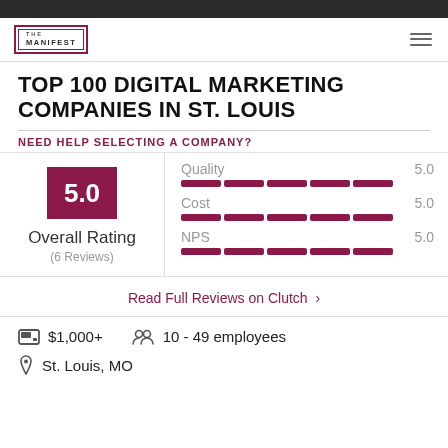THE MANIFEST
TOP 100 DIGITAL MARKETING COMPANIES IN ST. LOUIS
NEED HELP SELECTING A COMPANY?
5.0 Overall Rating (6 Reviews)
| Metric | Score |
| --- | --- |
| Quality | 5.0 |
| Cost | 5.0 |
| NPS | 5.0 |
Read Full Reviews on Clutch >
$1,000+
10 - 49 employees
St. Louis, MO